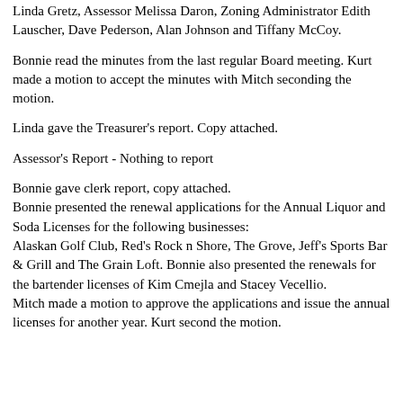Linda Gretz, Assessor Melissa Daron, Zoning Administrator Edith Lauscher, Dave Pederson, Alan Johnson and Tiffany McCoy.
Bonnie read the minutes from the last regular Board meeting. Kurt made a motion to accept the minutes with Mitch seconding the motion.
Linda gave the Treasurer's report.  Copy attached.
Assessor's Report -  Nothing to report
Bonnie gave clerk report, copy attached.
Bonnie presented the renewal applications for the Annual Liquor and Soda Licenses for the following businesses:
Alaskan Golf Club, Red's Rock n Shore, The Grove, Jeff's Sports Bar & Grill and The Grain Loft.  Bonnie also presented the renewals for the bartender licenses of Kim Cmejla and Stacey Vecellio.
Mitch made a motion to approve the applications and issue the annual licenses for another year.  Kurt second the motion.